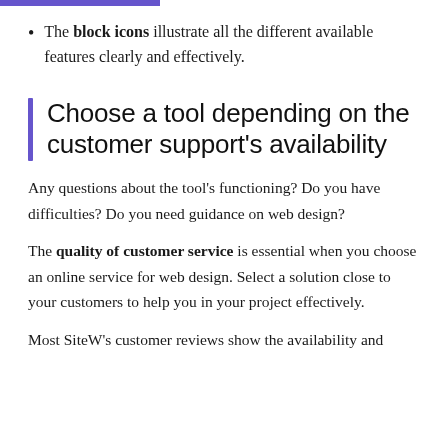The block icons illustrate all the different available features clearly and effectively.
Choose a tool depending on the customer support's availability
Any questions about the tool's functioning? Do you have difficulties? Do you need guidance on web design?
The quality of customer service is essential when you choose an online service for web design. Select a solution close to your customers to help you in your project effectively.
Most SiteW's customer reviews show the availability and